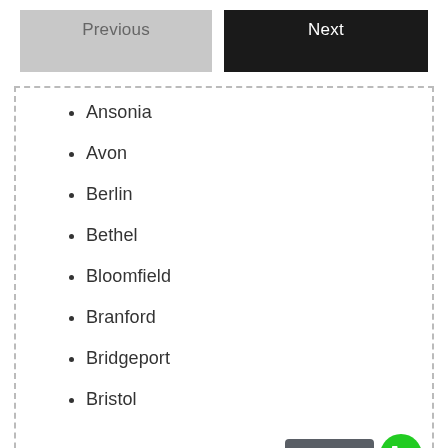[Figure (other): Navigation buttons: 'Previous' (grey) and 'Next' (black)]
Ansonia
Avon
Berlin
Bethel
Bloomfield
Branford
Bridgeport
Bristol
[Figure (other): Call Now button with green phone icon]